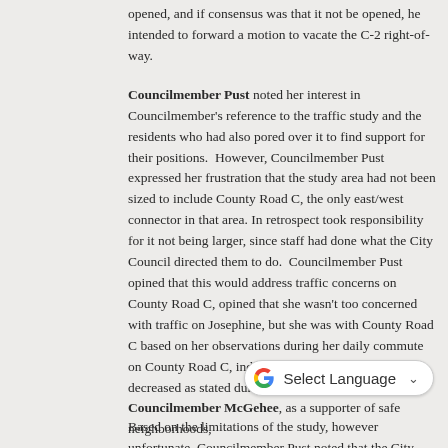opened, and if consensus was that it not be opened, he intended to forward a motion to vacate the C-2 right-of-way.
Councilmember Pust noted her interest in Councilmember's reference to the traffic study and the residents who had also pored over it to find support for their positions. However, Councilmember Pust expressed her frustration that the study area had not been sized to include County Road C, the only east/west connector in that area. In retrospect took responsibility for it not being larger, since staff had done what the City Council directed them to do. Councilmember Pust opined that this would address traffic concerns on County Road C, opined that she wasn't too concerned with traffic on Josephine, but she was with County Road C based on her observations during her daily commute on County Road C, indicating that traffic had not decreased as stated during public comment.
Based on the limitations of the study, however unfortunate, Councilmember Pust noted that the City was where they were; however, she agreed with another public speaker who said the Council needed to "do something," and not keep kicking the can down the road.
Councilmember McGehee, as a supporter of safe neighborhoods,